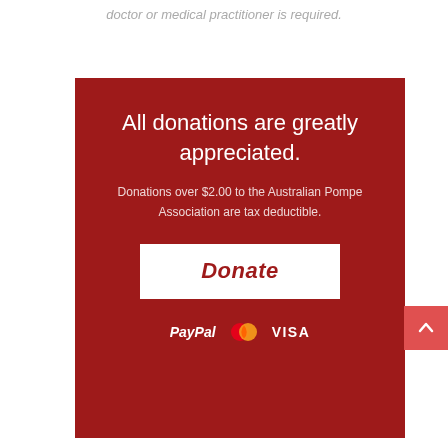doctor or medical practitioner is required.
[Figure (infographic): Dark red donation box with text 'All donations are greatly appreciated.', subtext about tax deductibility, a white Donate button, and PayPal/Mastercard/VISA payment icons.]
[Figure (other): Small red back-to-top button with upward arrow chevron on the right edge of the page.]